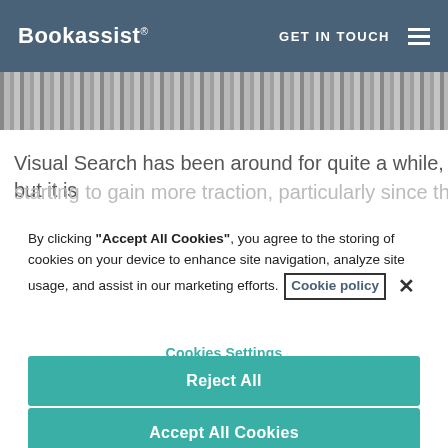Bookassist® GET IN TOUCH ≡
[Figure (photo): Partial photo of a building facade visible at top of page]
Visual Search has been around for quite a while, but it is starting to gain more traction, particularly since the launch of
By clicking "Accept All Cookies", you agree to the storing of cookies on your device to enhance site navigation, analyze site usage, and assist in our marketing efforts. Cookie policy ×
Cookies Settings
Reject All
Accept All Cookies